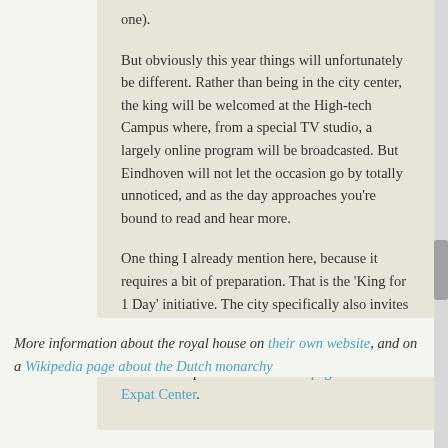one).
But obviously this year things will unfortunately be different. Rather than being in the city center, the king will be welcomed at the High-tech Campus where, from a special TV studio, a largely online program will be broadcasted. But Eindhoven will not let the occasion go by totally unnoticed, and as the day approaches you're bound to read and hear more.
One thing I already mention here, because it requires a bit of preparation. That is the 'King for 1 Day' initiative. The city specifically also invites international inhabitants to nominate their King for 1 Day (or their queen, obviously). For more information please visit the web page of the Expat Center.
More information about the royal house on their own website, and on a Wikipedia page about the Dutch monarchy